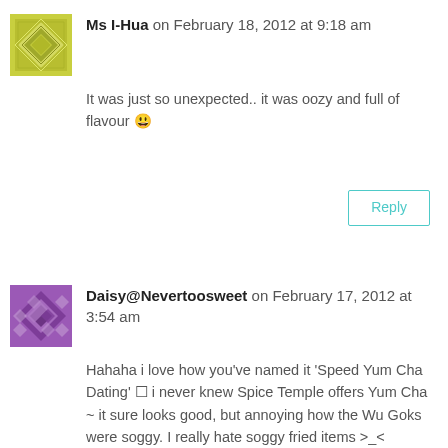Ms I-Hua on February 18, 2012 at 9:18 am
It was just so unexpected.. it was oozy and full of flavour 😊
Reply
Daisy@Nevertoosweet on February 17, 2012 at 3:54 am
Hahaha i love how you've named it 'Speed Yum Cha Dating' 😊 i never knew Spice Temple offers Yum Cha ~ it sure looks good, but annoying how the Wu Goks were soggy. I really hate soggy fried items >_<
A little pricey but like what you said it's 'fine dine yum cha' 😊
Hmmm think i'm gonna go check it out when I